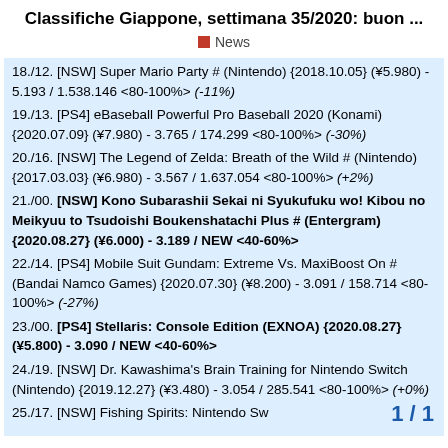Classifiche Giappone, settimana 35/2020: buon ...
News
18./12. [NSW] Super Mario Party # (Nintendo) {2018.10.05} (¥5.980) - 5.193 / 1.538.146 <80-100%> (-11%)
19./13. [PS4] eBaseball Powerful Pro Baseball 2020 (Konami) {2020.07.09} (¥7.980) - 3.765 / 174.299 <80-100%> (-30%)
20./16. [NSW] The Legend of Zelda: Breath of the Wild # (Nintendo) {2017.03.03} (¥6.980) - 3.567 / 1.637.054 <80-100%> (+2%)
21./00. [NSW] Kono Subarashii Sekai ni Syukufuku wo! Kibou no Meikyuu to Tsudoishi Boukenshatachi Plus # (Entergram) {2020.08.27} (¥6.000) - 3.189 / NEW <40-60%>
22./14. [PS4] Mobile Suit Gundam: Extreme Vs. MaxiBoost On # (Bandai Namco Games) {2020.07.30} (¥8.200) - 3.091 / 158.714 <80-100%> (-27%)
23./00. [PS4] Stellaris: Console Edition (EXNOA) {2020.08.27} (¥5.800) - 3.090 / NEW <40-60%>
24./19. [NSW] Dr. Kawashima's Brain Training for Nintendo Switch (Nintendo) {2019.12.27} (¥3.480) - 3.054 / 285.541 <80-100%> (+0%)
25./17. [NSW] Fishing Spirits: Nintendo Sw